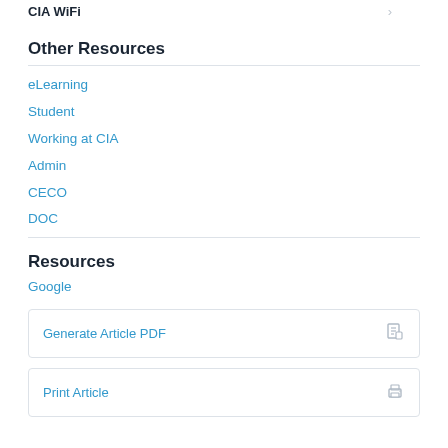CIA WiFi
Other Resources
eLearning
Student
Working at CIA
Admin
CECO
DOC
Resources
Google
Generate Article PDF
Print Article